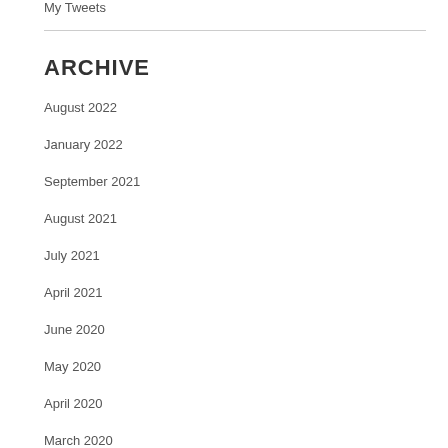My Tweets
ARCHIVE
August 2022
January 2022
September 2021
August 2021
July 2021
April 2021
June 2020
May 2020
April 2020
March 2020
February 2020